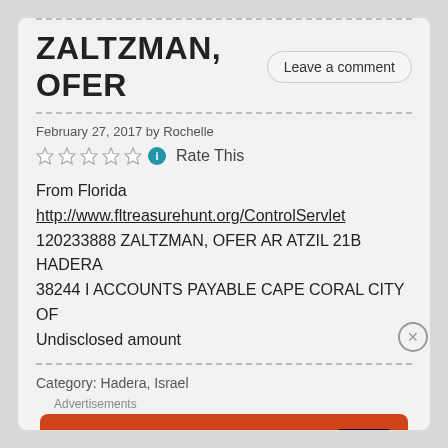ZALTZMAN, OFER
February 27, 2017 by Rochelle
Rate This
From Florida http://www.fltreasurehunt.org/ControlServlet
120233888 ZALTZMAN, OFER AR ATZIL 21B HADERA
38244 I ACCOUNTS PAYABLE CAPE CORAL CITY OF
Undisclosed amount
Category: Hadera, Israel
Advertisements
[Figure (infographic): DuckDuckGo advertisement banner: orange/red background with white text 'Search, browse, and email with more privacy.' and 'All in One Free App' button, with a phone image and DuckDuckGo logo]